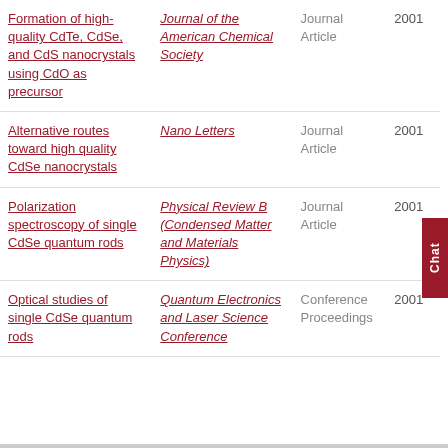| Title | Journal | Type | Year |
| --- | --- | --- | --- |
| Formation of high-quality CdTe, CdSe, and CdS nanocrystals using CdO as precursor | Journal of the American Chemical Society | Journal Article | 2001 |
| Alternative routes toward high quality CdSe nanocrystals | Nano Letters | Journal Article | 2001 |
| Polarization spectroscopy of single CdSe quantum rods | Physical Review B (Condensed Matter and Materials Physics) | Journal Article | 2001 |
| Optical studies of single CdSe quantum rods | Quantum Electronics and Laser Science Conference | Conference Proceedings | 2001 |